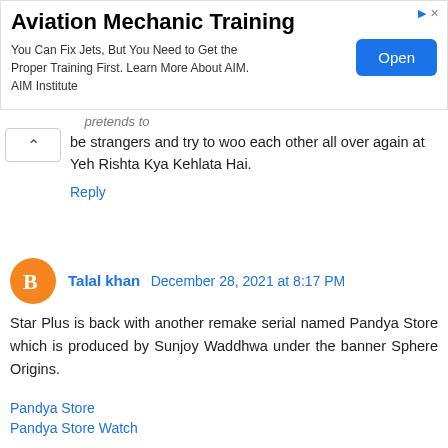[Figure (other): Advertisement banner for Aviation Mechanic Training with an Open button. Text: 'Aviation Mechanic Training — You Can Fix Jets, But You Need to Get the Proper Training First. Learn More About AIM. AIM Institute']
be strangers and try to woo each other all over again at Yeh Rishta Kya Kehlata Hai.
Reply
Talal khan  December 28, 2021 at 8:17 PM
Star Plus is back with another remake serial named Pandya Store which is produced by Sunjoy Waddhwa under the banner Sphere Origins.
Pandya Store
Pandya Store Watch
Reply